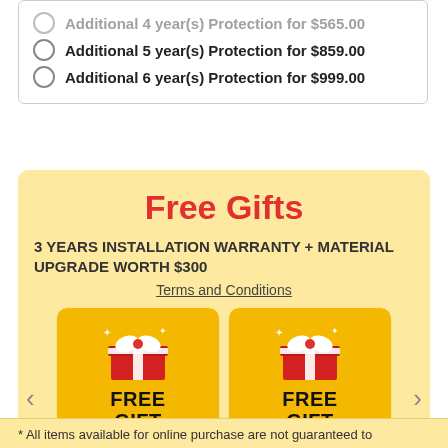Additional 5 year(s) Protection for $859.00
Additional 6 year(s) Protection for $999.00
Free Gifts
3 YEARS INSTALLATION WARRANTY + MATERIAL UPGRADE WORTH $300
Terms and Conditions
[Figure (illustration): Free gift card with gift box icon showing FREE GIFT text - Material Upgrade Worth $300]
MATERIAL UPGRADE WORTH $300
[Figure (illustration): Free gift card with gift box icon showing FREE GIFT text - 3 Years Installation Warranty]
3 YEARS INSTALLATION WARRANTY
* All items available for online purchase are not guaranteed to